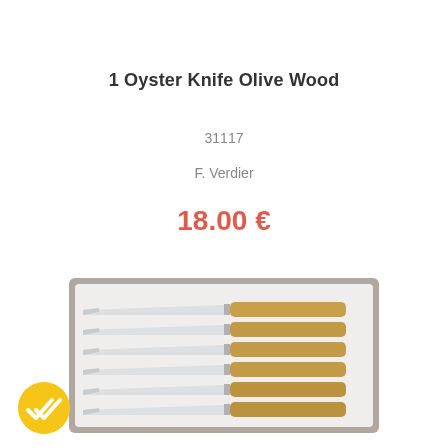1 Oyster Knife Olive Wood
31117
F. Verdier
18.00 €
[Figure (photo): Box of six knives with silver blades and olive wood handles, arranged in a grey gift box]
[Figure (logo): Gold/yellow circular badge with a double-check/checkmark icon]